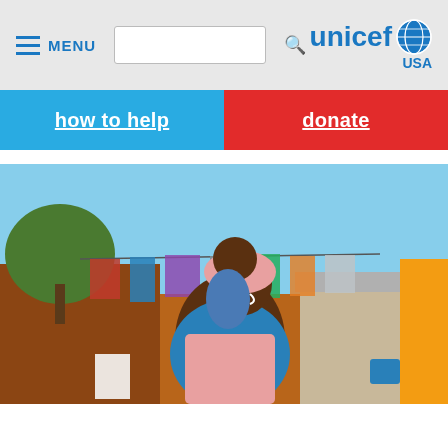MENU | UNICEF USA
how to help | donate
[Figure (photo): A smiling African woman wearing a pink headscarf and blue floral dress holds a young child outdoors. Colorful laundry hangs on a line behind her, with buildings and a tree in the background.]